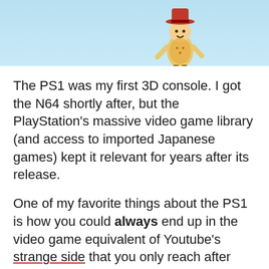[Figure (illustration): Light blue background with a cartoon character figure visible at top center of the image area]
The PS1 was my first 3D console. I got the N64 shortly after, but the PlayStation's massive video game library (and access to imported Japanese games) kept it relevant for years after its release.
One of my favorite things about the PS1 is how you could always end up in the video game equivalent of Youtube's strange side that you only reach after letting the autoplay run for hours.
If you weren't careful while buying discounted or used games, you'd be privy to some real weird stuff. In fact, it wasn't even uncommon in the PSX